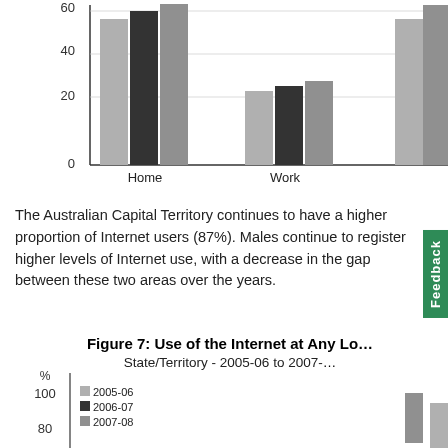[Figure (grouped-bar-chart): Internet use by location (partial)]
The Australian Capital Territory continues to have a higher proportion of Internet users (87%). Males continue to register higher levels of Internet use, with a decrease in the gap between these two areas over the years.
Figure 7: Use of the Internet at Any Lo... State/Territory - 2005-06 to 2007-...
[Figure (grouped-bar-chart): Figure 7: Use of the Internet at Any Location by State/Territory - 2005-06 to 2007-08]